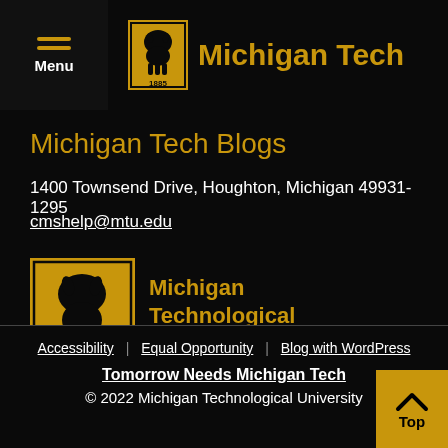Menu | Michigan Tech
Michigan Tech Blogs
1400 Townsend Drive, Houghton, Michigan 49931-1295
cmshelp@mtu.edu
[Figure (logo): Michigan Technological University logo with wolf silhouette and 1885 date]
Accessibility | Equal Opportunity | Blog with WordPress
Tomorrow Needs Michigan Tech
© 2022 Michigan Technological University